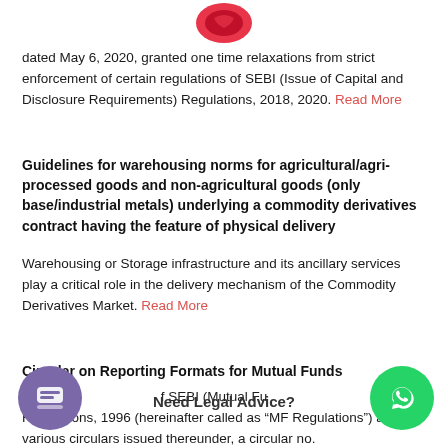[Figure (logo): Red circular logo at top center]
dated May 6, 2020, granted one time relaxations from strict enforcement of certain regulations of SEBI (Issue of Capital and Disclosure Requirements) Regulations, 2018, 2020. Read More
Guidelines for warehousing norms for agricultural/agri-processed goods and non-agricultural goods (only base/industrial metals) underlying a commodity derivatives contract having the feature of physical delivery
Warehousing or Storage infrastructure and its ancillary services play a critical role in the delivery mechanism of the Commodity Derivatives Market. Read More
Circular on Reporting Formats for Mutual Funds
f SEBI (Mutual Fund) Regulations, 1996 (hereinafter called as “MF Regulations”) and various circulars issued thereunder, a circular no.